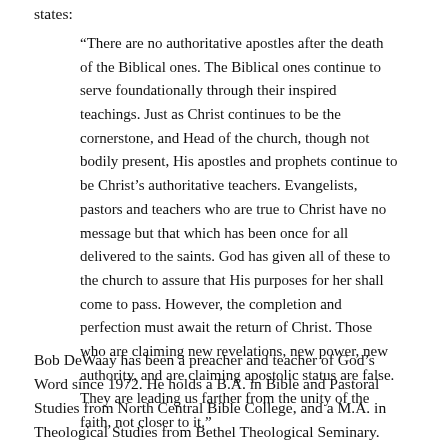states:
“There are no authoritative apostles after the death of the Biblical ones. The Biblical ones continue to serve foundationally through their inspired teachings. Just as Christ continues to be the cornerstone, and Head of the church, though not bodily present, His apostles and prophets continue to be Christ’s authoritative teachers. Evangelists, pastors and teachers who are true to Christ have no message but that which has been once for all delivered to the saints. God has given all of these to the church to assure that His purposes for her shall come to pass. However, the completion and perfection must await the return of Christ. Those who are claiming new revelations, new power, new authority, and are claiming apostolic status are false. They are leading us farther from the unity of the faith, not closer to it.”
Bob DeWaay has been a preacher and teacher of God’s Word since 1972. He holds a B.A. in Bible and Pastoral Studies from North Central Bible College, and a M.A. in Theological Studies from Bethel Theological Seminary. Bob has spoken at numerous conferences and debates, has taught at churches,